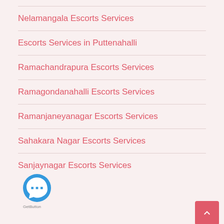Nelamangala Escorts Services
Escorts Services in Puttenahalli
Ramachandrapura Escorts Services
Ramagondanahalli Escorts Services
Ramanjaneyanagar Escorts Services
Sahakara Nagar Escorts Services
Sanjaynagar Escorts Services